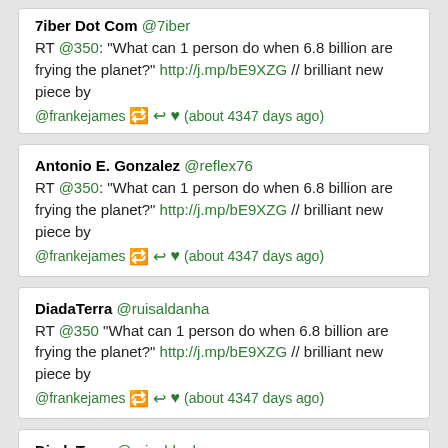7iber Dot Com @7iber — RT @350: "What can 1 person do when 6.8 billion are frying the planet?" http://j.mp/bE9XZG // brilliant new piece by @frankejames (about 4347 days ago)
Antonio E. Gonzalez @reflex76 — RT @350: "What can 1 person do when 6.8 billion are frying the planet?" http://j.mp/bE9XZG // brilliant new piece by @frankejames (about 4347 days ago)
DiadaTerra @ruisaldanha — RT @350 "What can 1 person do when 6.8 billion are frying the planet?" http://j.mp/bE9XZG // brilliant new piece by @frankejames (about 4347 days ago)
DiadaTerra @ruisaldanha — >> RT @350 "What can 1 person do when 6.8 billion are frying the planet?" http://j.mp/bE9XZG // brilliant new piece by